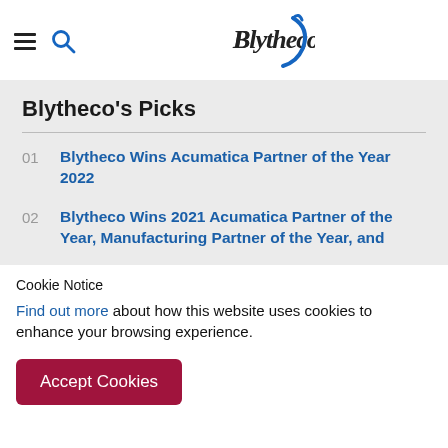Blytheco logo with hamburger menu and search icon
Blytheco's Picks
01 Blytheco Wins Acumatica Partner of the Year 2022
02 Blytheco Wins 2021 Acumatica Partner of the Year, Manufacturing Partner of the Year, and
Cookie Notice
Find out more about how this website uses cookies to enhance your browsing experience.
Accept Cookies